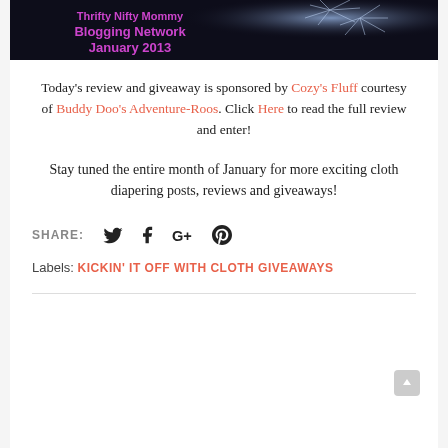[Figure (photo): Banner image for Thrifty Nifty Mommy Blogging Network January 2013, dark background with fireworks]
Today's review and giveaway is sponsored by Cozy's Fluff courtesy of Buddy Doo's Adventure-Roos. Click Here to read the full review and enter!
Stay tuned the entire month of January for more exciting cloth diapering posts, reviews and giveaways!
SHARE: [Twitter] [Facebook] [Google+] [Pinterest]
Labels: KICKIN' IT OFF WITH CLOTH GIVEAWAYS